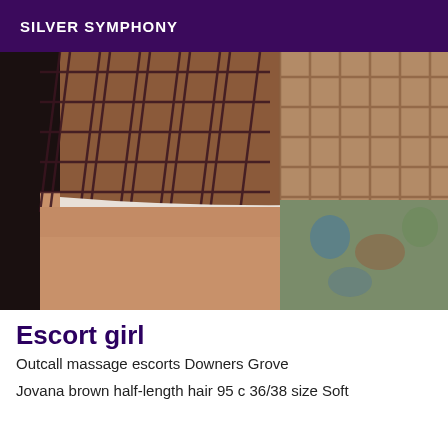SILVER SYMPHONY
[Figure (photo): Close-up photo of a person's thigh wearing fishnet stockings and a floral-patterned swimsuit/underwear bottom, taken indoors.]
Escort girl
Outcall massage escorts Downers Grove
Jovana brown half-length hair 95 c 36/38 size Soft